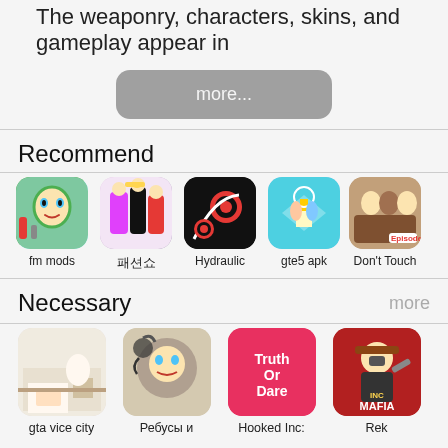The weaponry, characters, skins, and gameplay appear in
[Figure (screenshot): Gray rounded-rectangle button labeled 'more...']
Recommend
[Figure (screenshot): Row of 5 app icons: fm mods (face makeover), 패션쇼 (girls/fashion), Hydraulic (red ball on dark), gte5 apk (isometric city), Don't Touch (characters/Episode)]
Necessary
more
[Figure (screenshot): Row of 4 app icons: gta vice city (room interior), Ребусы и (illustrated puzzle), Hooked Inc: (pink/red Truth or Dare), Rek (Mafia Inc game)]
[Figure (screenshot): Row of 4 partial app icons at bottom: Zombie (red), dark character, triangle/teal, deer/pink]